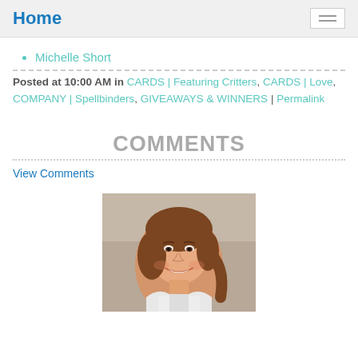Home
Michelle Short
Posted at 10:00 AM in CARDS | Featuring Critters, CARDS | Love, COMPANY | Spellbinders, GIVEAWAYS & WINNERS | Permalink
COMMENTS
View Comments
[Figure (photo): Portrait photo of a young woman with brown hair, smiling, wearing a white lace top]